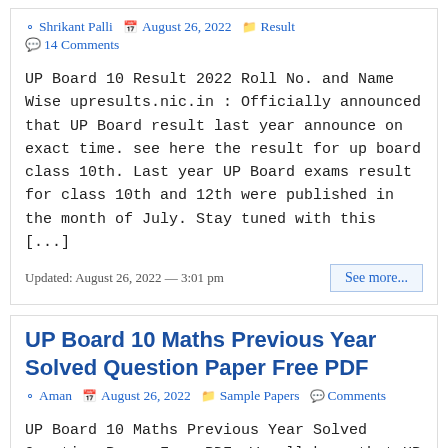Shrikant Palli  August 26, 2022  Result  14 Comments
UP Board 10 Result 2022 Roll No. and Name Wise upresults.nic.in : Officially announced that UP Board result last year announce on exact time. see here the result for up board class 10th. Last year UP Board exams result for class 10th and 12th were published in the month of July. Stay tuned with this [...]
Updated: August 26, 2022 — 3:01 pm
See more...
UP Board 10 Maths Previous Year Solved Question Paper Free PDF
Aman  August 26, 2022  Sample Papers  Comments
UP Board 10 Maths Previous Year Solved Question Paper Free PDF: We all know that UP Board Class 10 exams are going to commence soon, so it is high time for you all. Fully dedicate this time for your preparations and download some UP Board 10 Maths Previous Year Solved Question Paper from this page. The [...]